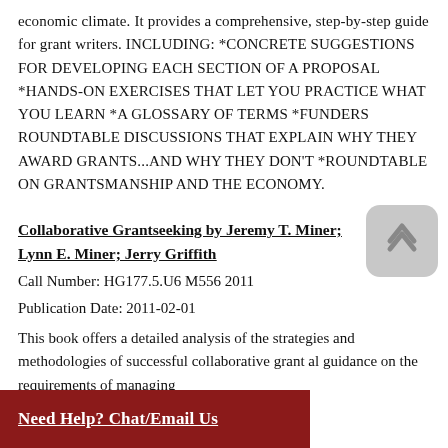economic climate. It provides a comprehensive, step-by-step guide for grant writers. INCLUDING: *CONCRETE SUGGESTIONS FOR DEVELOPING EACH SECTION OF A PROPOSAL *HANDS-ON EXERCISES THAT LET YOU PRACTICE WHAT YOU LEARN *A GLOSSARY OF TERMS *FUNDERS ROUNDTABLE DISCUSSIONS THAT EXPLAIN WHY THEY AWARD GRANTS...AND WHY THEY DON'T *ROUNDTABLE ON GRANTSMANSHIP AND THE ECONOMY.
Collaborative Grantseeking by Jeremy T. Miner; Lynn E. Miner; Jerry Griffith
Call Number: HG177.5.U6 M556 2011
Publication Date: 2011-02-01
This book offers a detailed analysis of the strategies and methodologies of successful collaborative grant al guidance on the requirements of managing
Need Help? Chat/Email Us